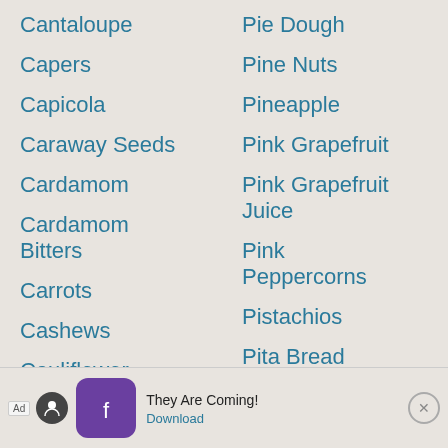Cantaloupe
Capers
Capicola
Caraway Seeds
Cardamom
Cardamom Bitters
Carrots
Cashews
Cauliflower
Caye...
Pie Dough
Pine Nuts
Pineapple
Pink Grapefruit
Pink Grapefruit Juice
Pink Peppercorns
Pistachios
Pita Bread
Pizza Dough